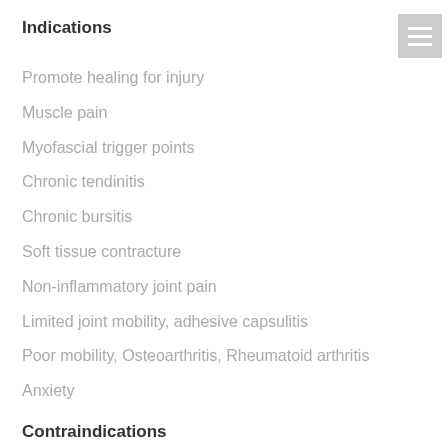Indications
Promote healing for injury
Muscle pain
Myofascial trigger points
Chronic tendinitis
Chronic bursitis
Soft tissue contracture
Non-inflammatory joint pain
Limited joint mobility, adhesive capsulitis
Poor mobility, Osteoarthritis, Rheumatoid arthritis
Anxiety
Contraindications